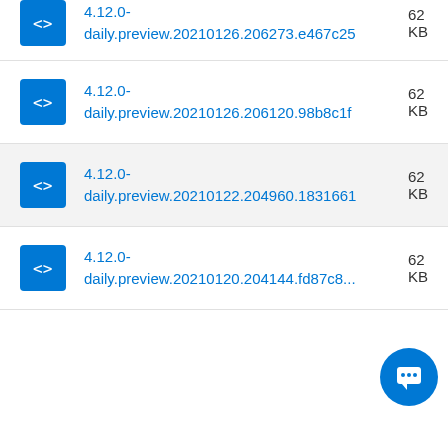4.12.0-daily.preview.20210126.206273.e467c25  62... KB
4.12.0-daily.preview.20210126.206120.98b8c1f  62... KB
4.12.0-daily.preview.20210122.204960.1831661  62... KB
4.12.0-daily.preview.20210120.204144.fd87c8...  62... KB